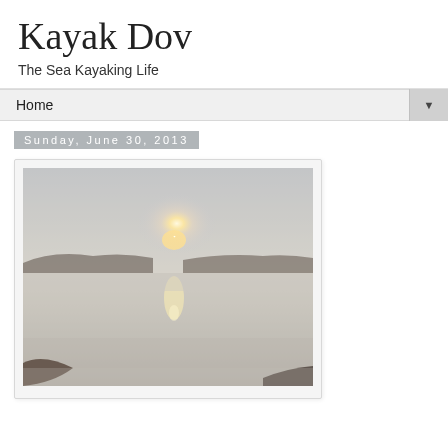Kayak Dov
The Sea Kayaking Life
Home
Sunday, June 30, 2013
[Figure (photo): A misty foggy sunrise over calm water, seen from a kayak or elevated vantage point. The sun is low on the horizon with its reflection shimmering on the water surface, surrounded by haze and dark landmasses on either side.]